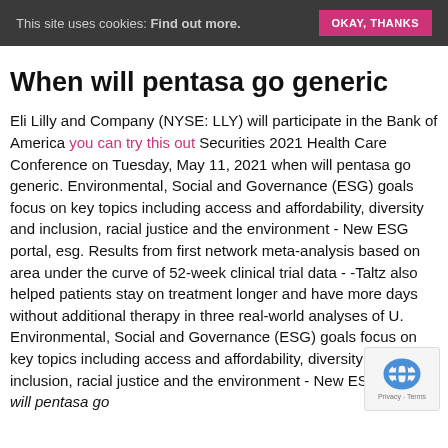This site uses cookies: Find out more. OKAY, THANKS
When will pentasa go generic
Eli Lilly and Company (NYSE: LLY) will participate in the Bank of America you can try this out Securities 2021 Health Care Conference on Tuesday, May 11, 2021 when will pentasa go generic. Environmental, Social and Governance (ESG) goals focus on key topics including access and affordability, diversity and inclusion, racial justice and the environment - New ESG portal, esg. Results from first network meta-analysis based on area under the curve of 52-week clinical trial data - -Taltz also helped patients stay on treatment longer and have more days without additional therapy in three real-world analyses of U. Environmental, Social and Governance (ESG) goals focus on key topics including access and affordability, diversity and inclusion, racial justice and the environment - New ESG when will pentasa go